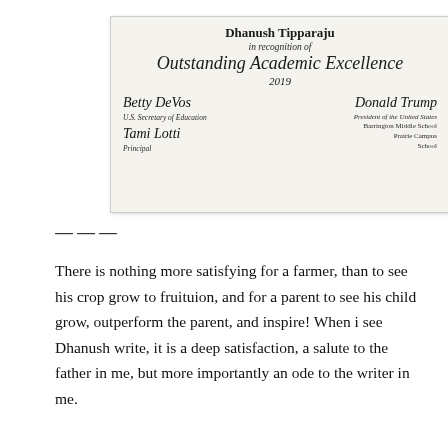[Figure (photo): Photograph of a certificate awarded to Dhanush Tipparaju for Outstanding Academic Excellence 2019, signed by U.S. Secretary of Education and President of the United States, with school signatures from Barrington Middle School Prairie Campus.]
———
There is nothing more satisfying for a farmer, than to see his crop grow to fruituion, and for a parent to see his child grow, outperform the parent, and inspire! When i see Dhanush write, it is a deep satisfaction, a salute to the father in me, but more importantly an ode to the writer in me.